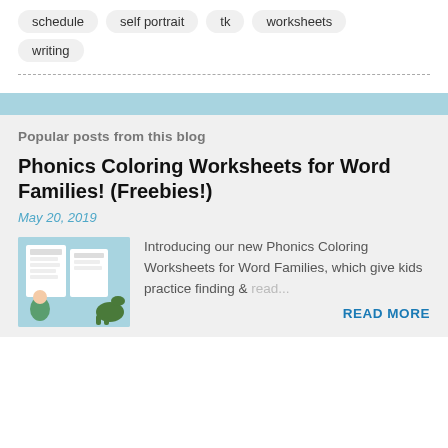schedule
self portrait
tk
worksheets
writing
Popular posts from this blog
Phonics Coloring Worksheets for Word Families! (Freebies!)
May 20, 2019
[Figure (photo): Thumbnail image showing phonics coloring worksheets with colorful word family illustrations on blue background]
Introducing our new Phonics Coloring Worksheets for Word Families, which give kids practice finding & read...
READ MORE